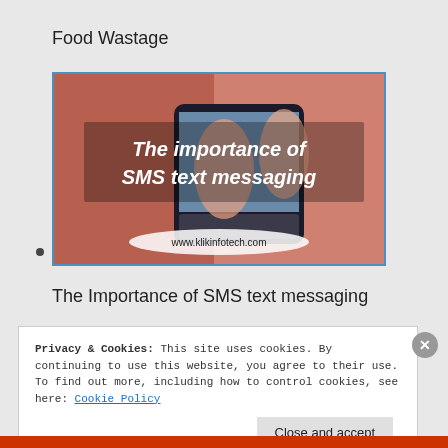Food Wastage
[Figure (photo): Photo of hands typing on a smartphone with white italic text overlay reading 'The importance of SMS text messaging' and URL www.klikinfotech.com at the bottom]
•
The Importance of SMS text messaging
Privacy & Cookies: This site uses cookies. By continuing to use this website, you agree to their use.
To find out more, including how to control cookies, see here: Cookie Policy
Close and accept